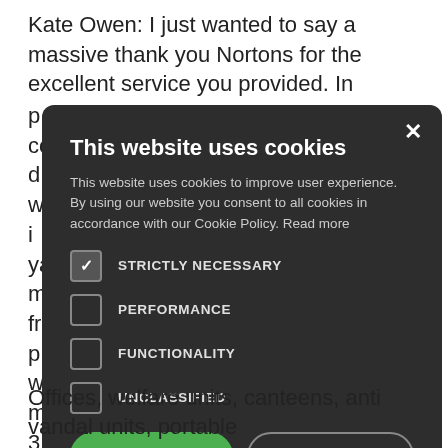Kate Owen: I just wanted to say a massive thank you Nortons for the excellent service you provided. In p... my container d... erator who i... nclosed yard in m... ur friendly, p... and will be m...
[Figure (screenshot): Cookie consent modal overlay on a dark background. Title: 'This website uses cookies'. Description text about cookie policy. Four checkboxes: STRICTLY NECESSARY (checked), PERFORMANCE (unchecked), FUNCTIONALITY (unchecked), UNCLASSIFIED (unchecked). Two buttons: ACCEPT ALL (green) and DECLINE ALL (outline). SHOW DETAILS link with gear icon. Close X button top right.]
Offices, welfare units, canteens, anti vandal units, portable